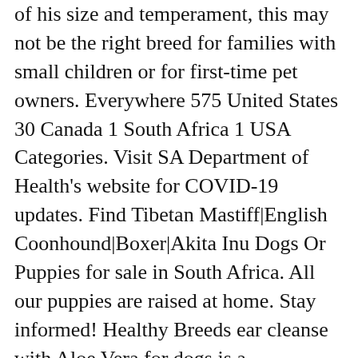of his size and temperament, this may not be the right breed for families with small children or for first-time pet owners. Everywhere 575 United States 30 Canada 1 South Africa 1 USA Categories. Visit SA Department of Health's website for COVID-19 updates. Find Tibetan Mastiff|English Coonhound|Boxer|Akita Inu Dogs Or Puppies for sale in South Africa. All our puppies are raised at home. Stay informed! Healthy Breeds ear cleanse with Aloe Vera for dogs is a veterinarian-formulated ear cleanser scientifically developed to deodorize, gently clean, dry and acidify the ear canal. Everything Pets and Animals ... Little Christmas is a Female Price: $650 Text 508 ... by zbfllgmb5 - Selma, Indiana - - 5 days ago Great Dane-Mastiff puppies for sale - $600 ... Tibetan Mastiff Serious inquiries only, email for ... Listed Registered breeders in Dog Directory